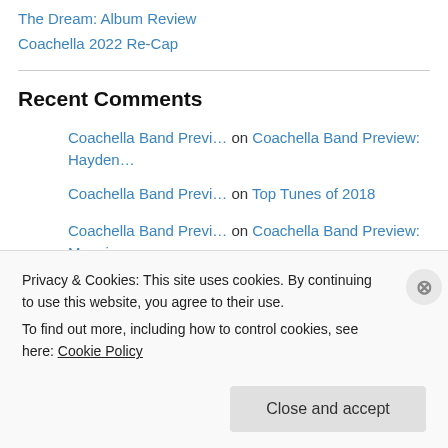The Dream: Album Review
Coachella 2022 Re-Cap
Recent Comments
Coachella Band Previ… on Coachella Band Preview: Hayden…
Coachella Band Previ… on Top Tunes of 2018
Coachella Band Previ… on Coachella Band Preview: Maggie…
Coachella Band Previ… on Coachella Band Preview: Emo
Privacy & Cookies: This site uses cookies. By continuing to use this website, you agree to their use.
To find out more, including how to control cookies, see here: Cookie Policy
Close and accept